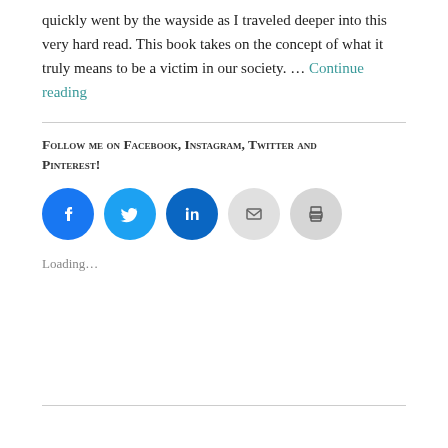quickly went by the wayside as I traveled deeper into this very hard read. This book takes on the concept of what it truly means to be a victim in our society. … Continue reading
Follow me on Facebook, Instagram, Twitter and Pinterest!
[Figure (infographic): Five social media icon circles: Facebook (blue), Twitter (light blue), LinkedIn (dark blue), Email (light grey), Print (grey)]
Loading…